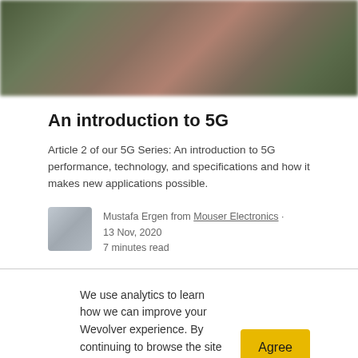[Figure (photo): Blurred hero/banner image with green, brown, and purple tones suggesting an outdoor or event scene]
An introduction to 5G
Article 2 of our 5G Series: An introduction to 5G performance, technology, and specifications and how it makes new applications possible.
Mustafa Ergen from Mouser Electronics · 13 Nov, 2020
7 minutes read
We use analytics to learn how we can improve your Wevolver experience. By continuing to browse the site you're agreeing to our use of cookies to do so. You can read our cookie policy here.